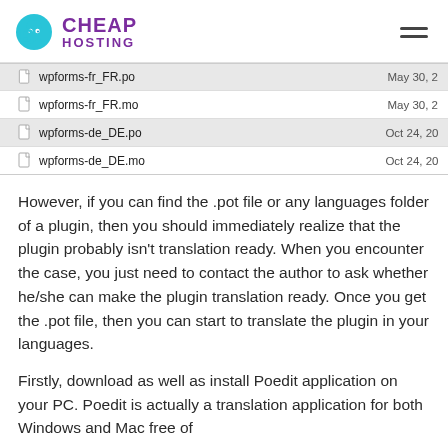BIG CHEAP HOSTING
[Figure (screenshot): File listing showing wpforms-fr_FR.po, wpforms-fr_FR.mo, wpforms-de_DE.po, wpforms-de_DE.mo with dates May 30 and Oct 24]
However, if you can find the .pot file or any languages folder of a plugin, then you should immediately realize that the plugin probably isn't translation ready. When you encounter the case, you just need to contact the author to ask whether he/she can make the plugin translation ready. Once you get the .pot file, then you can start to translate the plugin in your languages.
Firstly, download as well as install Poedit application on your PC. Poedit is actually a translation application for both Windows and Mac free of